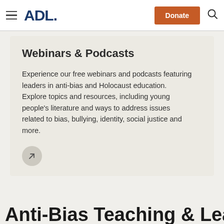ADL — Donate — Search
Webinars & Podcasts
Experience our free webinars and podcasts featuring leaders in anti-bias and Holocaust education. Explore topics and resources, including young people's literature and ways to address issues related to bias, bullying, identity, social justice and more.
Anti-Bias Teaching & Learning